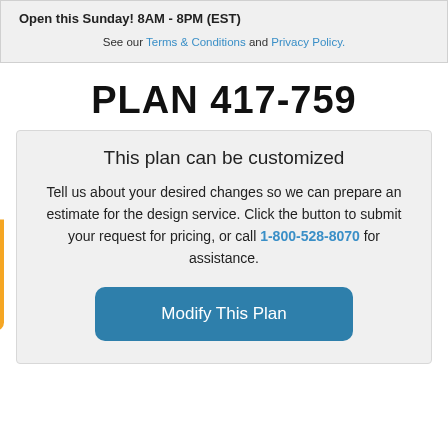Open this Sunday! 8AM - 8PM (EST)
See our Terms & Conditions and Privacy Policy.
PLAN 417-759
This plan can be customized
Tell us about your desired changes so we can prepare an estimate for the design service. Click the button to submit your request for pricing, or call 1-800-528-8070 for assistance.
Modify This Plan
Promo Codes